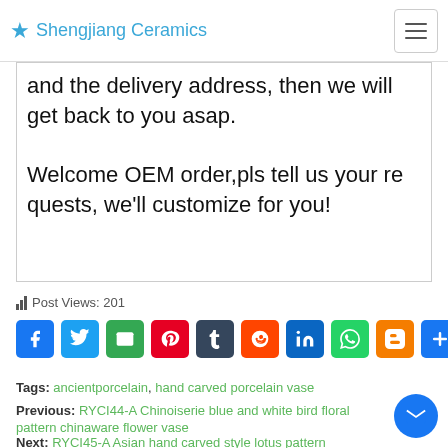Shengjiang Ceramics
and the delivery address, then we will get back to you asap.

Welcome OEM order,pls tell us your requests, we'll customize for you!
Post Views: 201
[Figure (other): Social media share buttons: Facebook, Twitter, Email, Pinterest, Tumblr, Reddit, LinkedIn, WhatsApp, Blogger, Share More]
Tags: ancientporcelain, hand carved porcelain vase
Previous: RYCI44-A Chinoiserie blue and white bird floral pattern chinaware flower vase
Next: RYCI45-A Asian hand carved style lotus pattern